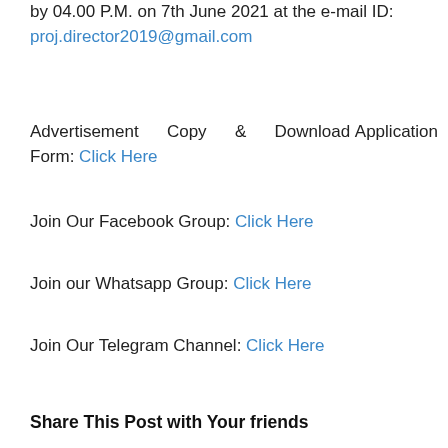by 04.00 P.M. on 7th June 2021 at the e-mail ID: proj.director2019@gmail.com
Advertisement Copy & Download Application Form: Click Here
Join Our Facebook Group: Click Here
Join our Whatsapp Group: Click Here
Join Our Telegram Channel: Click Here
Share This Post with Your friends